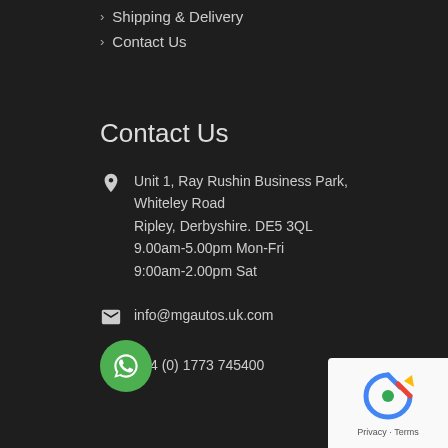> Shipping & Delivery
> Contact Us
Contact Us
Unit 1, Ray Rushin Business Park, Whiteley Road
Ripley, Derbyshire. DE5 3QL
9.00am-5.00pm Mon-Fri
9:00am-2.00pm Sat
info@mgautos.uk.com
+44 (0) 1773 745400
[Figure (logo): Green WhatsApp button icon]
[Figure (logo): reCAPTCHA Privacy - Terms badge]